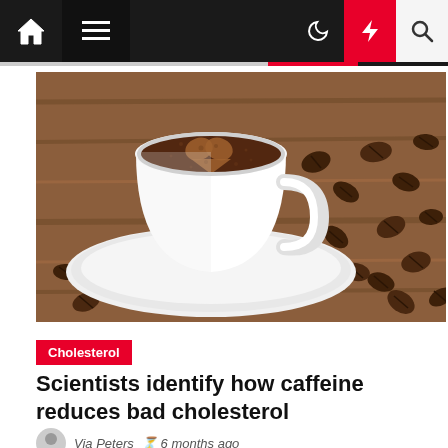Navigation bar with home, menu, moon, bolt, and search icons
[Figure (photo): A white ceramic cup of black coffee with a heart-shaped foam pattern, sitting on a white saucer surrounded by roasted coffee beans on a wooden surface]
Cholesterol
Scientists identify how caffeine reduces bad cholesterol
Via Peters  6 months ago